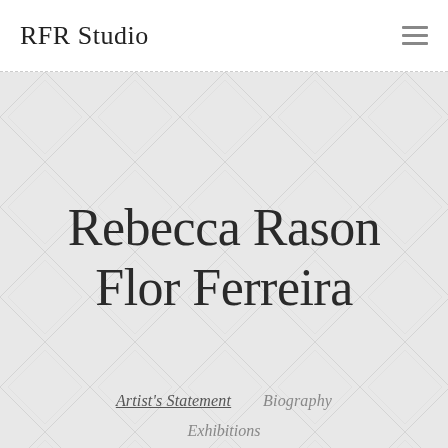RFR Studio
Rebecca Rason Flor Ferreira
Artist's Statement
Biography
Exhibitions